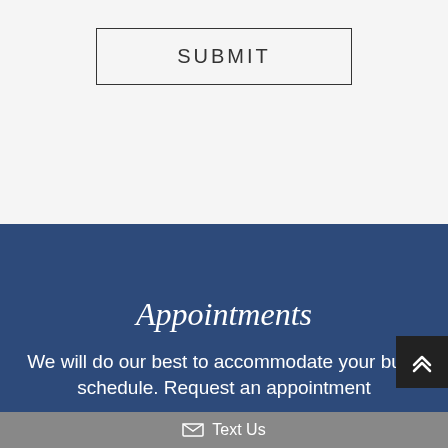SUBMIT
Appointments
We will do our best to accommodate your busy schedule. Request an appointment
✉ Text Us